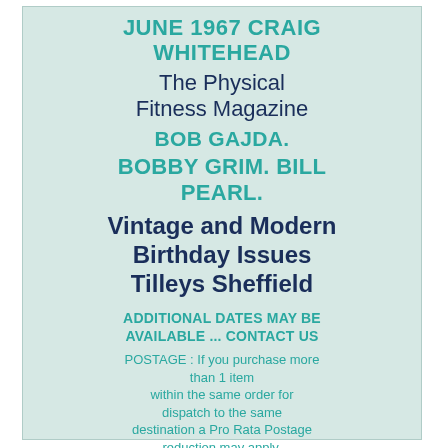JUNE 1967 CRAIG WHITEHEAD
The Physical Fitness Magazine
BOB GAJDA.
BOBBY GRIM. BILL PEARL.
Vintage and Modern Birthday Issues Tilleys Sheffield
ADDITIONAL DATES MAY BE AVAILABLE ... CONTACT US
POSTAGE : If you purchase more than 1 item within the same order for dispatch to the same destination a Pro Rata Postage reduction may apply.